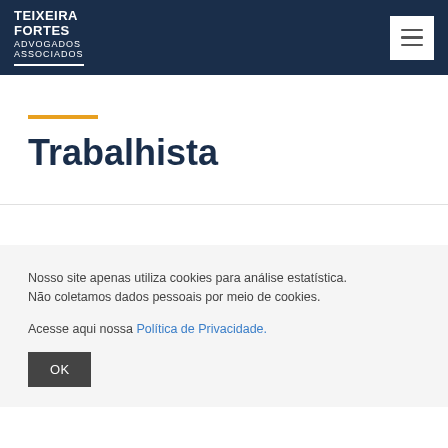TEIXEIRA FORTES ADVOGADOS ASSOCIADOS
Trabalhista
Nosso site apenas utiliza cookies para análise estatística. Não coletamos dados pessoais por meio de cookies.
Acesse aqui nossa Política de Privacidade.
OK